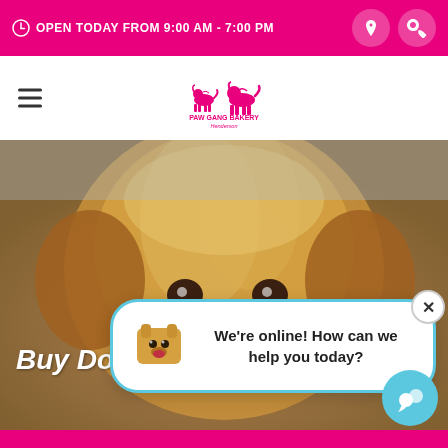OPEN TODAY FROM 9:00 AM - 7:00 PM
[Figure (logo): Paw Gang Bakery & Grooming Henderson logo with two dog silhouettes]
[Figure (photo): Close-up photo of a golden retriever dog]
Buy Dogswear... We...
We're online! How can we help you today?